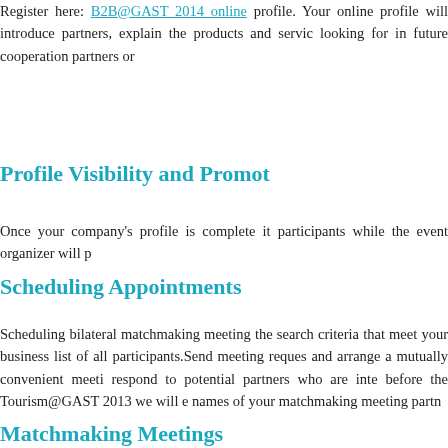Register here: B2B@GAST 2014 online profile. Your online profile will introduce partners, explain the products and services looking for in future cooperation partners or...
Profile Visibility and Promot...
Once your company's profile is complete it participants while the event organizer will p...
Scheduling Appointments
Scheduling bilateral matchmaking meetings the search criteria that meet your business list of all participants. Send meeting reques and arrange a mutually convenient meeti respond to potential partners who are inte before the Tourism@GAST 2013 we will e names of your matchmaking meeting partn...
Matchmaking Meetings